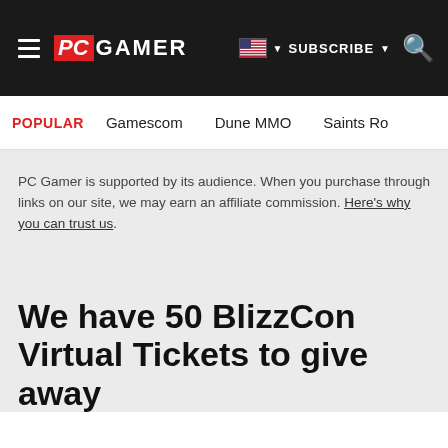PC GAMER | SUBSCRIBE
POPULAR   Gamescom   Dune MMO   Saints Ro
PC Gamer is supported by its audience. When you purchase through links on our site, we may earn an affiliate commission. Here's why you can trust us.
We have 50 BlizzCon Virtual Tickets to give away